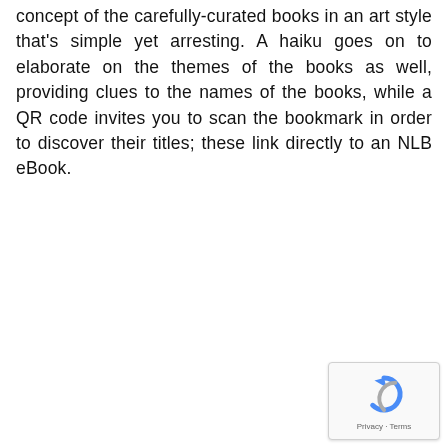concept of the carefully-curated books in an art style that's simple yet arresting. A haiku goes on to elaborate on the themes of the books as well, providing clues to the names of the books, while a QR code invites you to scan the bookmark in order to discover their titles; these link directly to an NLB eBook.
[Figure (other): reCAPTCHA widget with recycling/refresh icon and Privacy - Terms footer text]